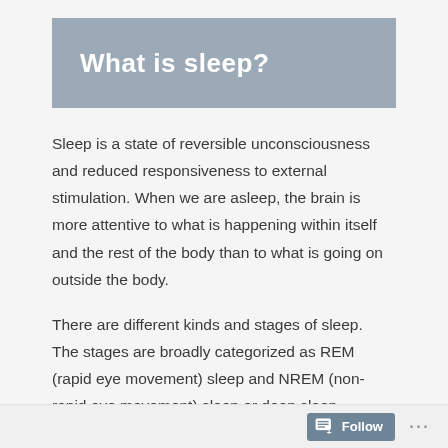What is sleep?
Sleep is a state of reversible unconsciousness and reduced responsiveness to external stimulation. When we are asleep, the brain is more attentive to what is happening within itself and the rest of the body than to what is going on outside the body.
There are different kinds and stages of sleep. The stages are broadly categorized as REM (rapid eye movement) sleep and NREM (non-rapid eye movement) sleep or deep sleep. During an 8 hour
Follow ...